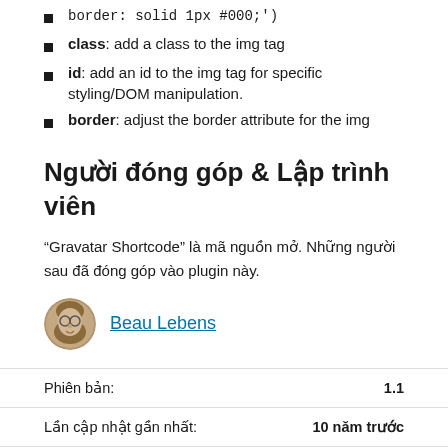border: solid 1px #000;')
class: add a class to the img tag
id: add an id to the img tag for specific styling/DOM manipulation.
border: adjust the border attribute for the img
Người đóng góp & Lập trình viên
“Gravatar Shortcode” là mã nguồn mở. Những người sau đã đóng góp vào plugin này.
[Figure (photo): Avatar photo of Beau Lebens, a person with glasses]
Beau Lebens
|  |  |
| --- | --- |
| Phiên bản: | 1.1 |
| Lần cập nhật gần nhất: | 10 năm trước |
| Lượt kích hoạt: | 100+ |